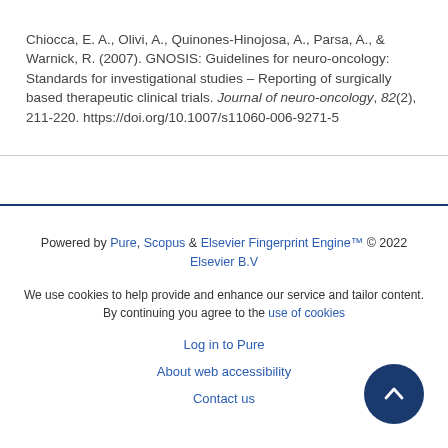Chiocca, E. A., Olivi, A., Quinones-Hinojosa, A., Parsa, A., & Warnick, R. (2007). GNOSIS: Guidelines for neuro-oncology: Standards for investigational studies – Reporting of surgically based therapeutic clinical trials. Journal of neuro-oncology, 82(2), 211-220. https://doi.org/10.1007/s11060-006-9271-5
Powered by Pure, Scopus & Elsevier Fingerprint Engine™ © 2022 Elsevier B.V

We use cookies to help provide and enhance our service and tailor content. By continuing you agree to the use of cookies

Log in to Pure

About web accessibility

Contact us